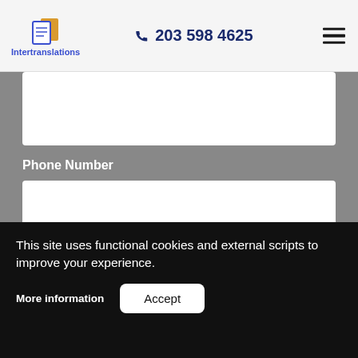[Figure (logo): Intertranslations logo with document icon in orange/blue and blue text]
203 598 4625
Phone Number
Email
Language From:
This site uses functional cookies and external scripts to improve your experience.
More information
Accept